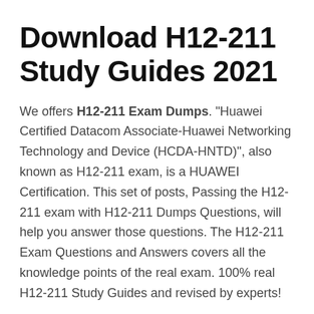Download H12-211 Study Guides 2021
We offers H12-211 Exam Dumps. "Huawei Certified Datacom Associate-Huawei Networking Technology and Device (HCDA-HNTD)", also known as H12-211 exam, is a HUAWEI Certification. This set of posts, Passing the H12-211 exam with H12-211 Dumps Questions, will help you answer those questions. The H12-211 Exam Questions and Answers covers all the knowledge points of the real exam. 100% real H12-211 Study Guides and revised by experts!
Check H12-211 free dumps before getting the